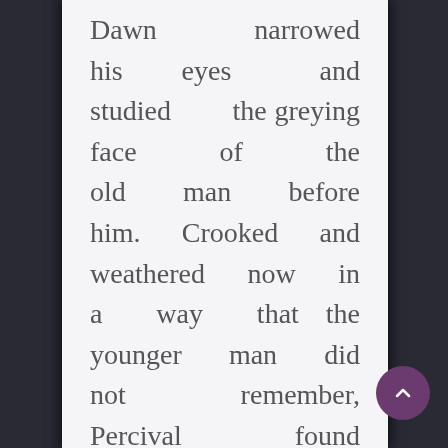Dawn narrowed his eyes and studied the greying face of the old man before him. Crooked and weathered now in a way that the younger man did not remember, Percival found that he still recognized him.

Still bristling, Reblin padded stiffly toward his cousin and froze